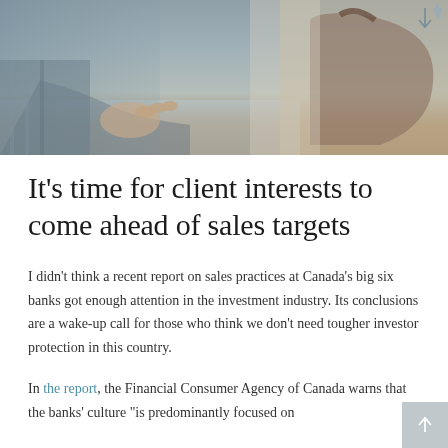[Figure (photo): Background photo of a person in a meeting or office setting, partially visible, muted blue-gray tones]
It's time for client interests to come ahead of sales targets
I didn't think a recent report on sales practices at Canada's big six banks got enough attention in the investment industry. Its conclusions are a wake-up call for those who think we don't need tougher investor protection in this country.
In the report, the Financial Consumer Agency of Canada warns that the banks' culture "is predominantly focused on